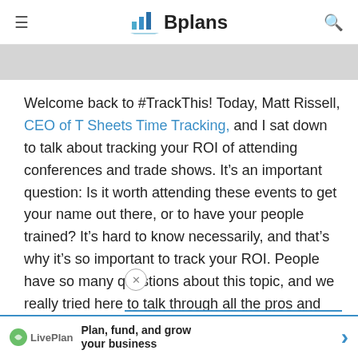Bplans
[Figure (screenshot): Grey banner strip at top of content area]
Welcome back to #TrackThis! Today, Matt Rissell, CEO of T Sheets Time Tracking, and I sat down to talk about tracking your ROI of attending conferences and trade shows. It's an important question: Is it worth attending these events to get your name out there, or to have your people trained? It's hard to know necessarily, and that's why it's so important to track your ROI. People have so many questions about this topic, and we really tried here to talk through all the pros and cons to think about when you're considering attending these events. Matt is a bit m[ore...]am, which [...]
[Figure (screenshot): LivePlan ad bar at bottom: Plan, fund, and grow your business]